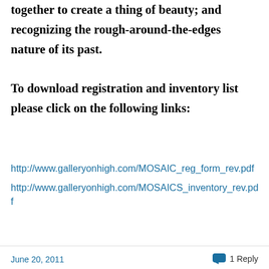together to create a thing of beauty; and recognizing the rough-around-the-edges nature of its past.
To download registration and inventory list please click on the following links:
http://www.galleryonhigh.com/MOSAIC_reg_form_rev.pdf
http://www.galleryonhigh.com/MOSAICS_inventory_rev.pdf
June 20, 2011   1 Reply